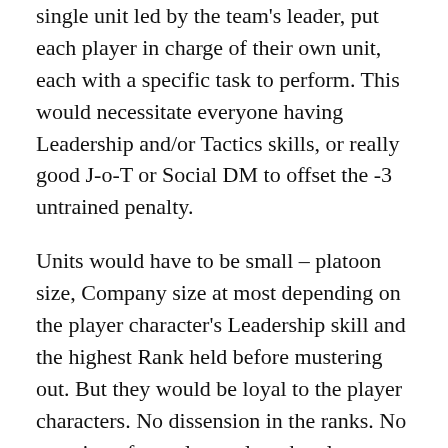single unit led by the team's leader, put each player in charge of their own unit, each with a specific task to perform. This would necessitate everyone having Leadership and/or Tactics skills, or really good J-o-T or Social DM to offset the -3 untrained penalty.
Units would have to be small – platoon size, Company size at most depending on the player character's Leadership skill and the highest Rank held before mustering out. But they would be loyal to the player characters. No dissension in the ranks. No question of morale – unless the player character was a brute to them, they'd fight as long as the character fights, quit when the character quits.
The nature of the unit under each player's charge depends upon the player characters' strongest combat skills, or special abilities, or even a combination of both.